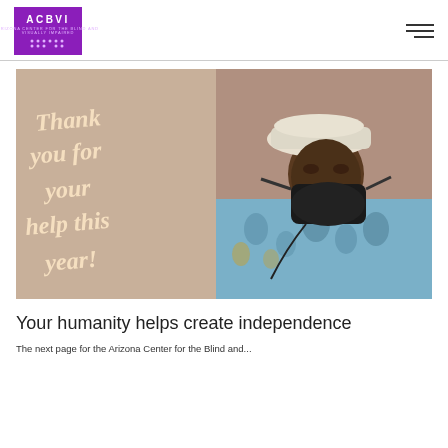ACBVI logo and navigation
[Figure (photo): A man wearing a white cap, black face mask, and a blue floral shirt, photographed from the side. On the left side of the image, cursive text reads: 'Thank you for your help this year!']
Your humanity helps create independence
The next page for the Arizona Center for the Blind and...